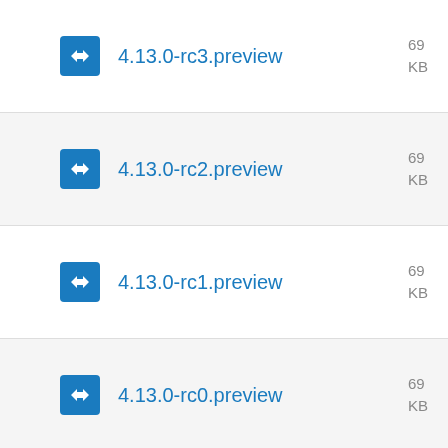4.13.0-rc3.preview
4.13.0-rc2.preview
4.13.0-rc1.preview
4.13.0-rc0.preview